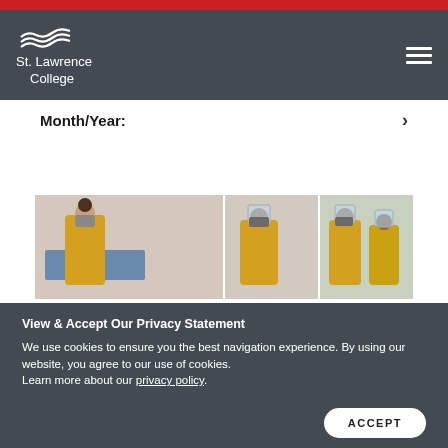St. Lawrence College
Month/Year:
[Figure (photo): Three healthcare workers wearing PPE including face shields, masks, and yellow gowns attending to patients in a clinical setting]
View & Accept Our Privacy Statement
We use cookies to ensure you the best navigation experience. By using our website, you agree to our use of cookies.
Learn more about our privacy policy.
ACCEPT